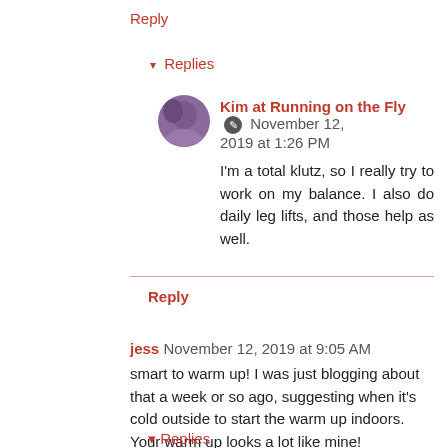Reply
▾ Replies
Kim at Running on the Fly 🔘 November 12, 2019 at 1:26 PM
I'm a total klutz, so I really try to work on my balance. I also do daily leg lifts, and those help as well.
Reply
jess November 12, 2019 at 9:05 AM
smart to warm up! I was just blogging about that a week or so ago, suggesting when it's cold outside to start the warm up indoors. Your warm up looks a lot like mine!
Reply
▾ Replies